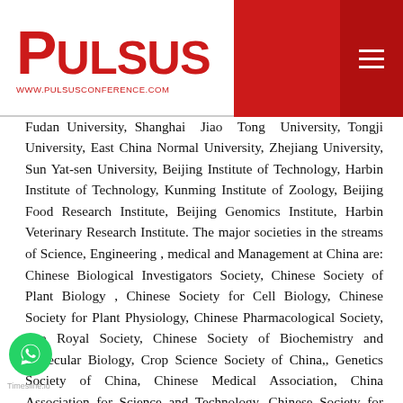PULSUS | WWW.PULSUSCONFERENCE.COM
University, Southeast University, Ocean University of China, Fudan University, Shanghai Jiao Tong University, Tongji University, East China Normal University, Zhejiang University, Sun Yat-sen University, Beijing Institute of Technology, Harbin Institute of Technology, Kunming Institute of Zoology, Beijing Food Research Institute, Beijing Genomics Institute, Harbin Veterinary Research Institute. The major societies in the streams of Science, Engineering , medical and Management at China are: Chinese Biological Investigators Society, Chinese Society of Plant Biology , Chinese Society for Cell Biology, Chinese Society for Plant Physiology, Chinese Pharmacological Society, The Royal Society, Chinese Society of Biochemistry and Molecular Biology, Crop Science Society of China,, Genetics Society of China, Chinese Medical Association, China Association for Science and Technology, Chinese Society for Reproductive Biology, Chinese Society for Biochemistry and Molecular Biology. Chinese Mechanical Engineering Society, Chinese Ocean Engineering Society, Chemical